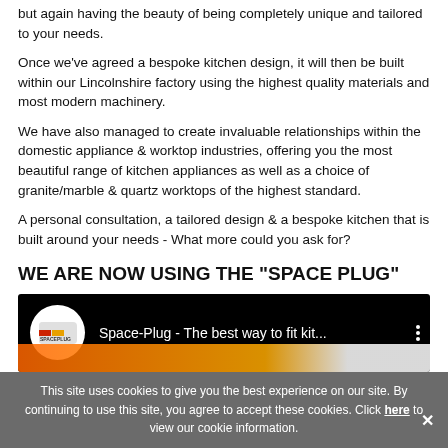but again having the beauty of being completely unique and tailored to your needs.
Once we've agreed a bespoke kitchen design, it will then be built within our Lincolnshire factory using the highest quality materials and most modern machinery.
We have also managed to create invaluable relationships within the domestic appliance & worktop industries, offering you the most beautiful range of kitchen appliances as well as a choice of granite/marble & quartz worktops of the highest standard.
A personal consultation, a tailored design & a bespoke kitchen that is built around your needs - What more could you ask for?
WE ARE NOW USING THE "SPACE PLUG"
[Figure (screenshot): YouTube video embed showing Space-Plug channel logo and video title 'Space-Plug - The best way to fit kit...' with a preview of an orange/red object at the bottom.]
This site uses cookies to give you the best experience on our site. By continuing to use this site, you agree to accept these cookies. Click here to view our cookie information.